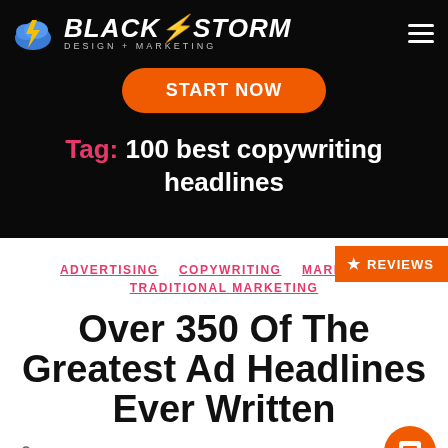[Figure (logo): BlackStorm Design + Marketing logo with lightning bolt cloud icon]
[Figure (other): START NOW orange pill-shaped button]
Tag: 100 best copywriting headlines
ADVERTISING  COPYWRITING  MARKETING  TRADITIONAL MARKETING
[Figure (other): Orange REVIEWS badge with star icon]
Over 350 Of The Greatest Ad Headlines Ever Written
[Figure (other): Orange chat bubble icon button]
By BlackStorm Home Service Marketing